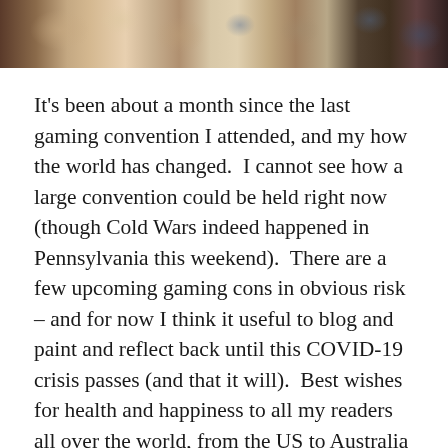[Figure (photo): Cropped photo strip at top of page showing a gaming convention table with miniatures, dice, books and game components spread across a surface.]
It's been about a month since the last gaming convention I attended, and my how the world has changed.  I cannot see how a large convention could be held right now (though Cold Wars indeed happened in Pennsylvania this weekend).  There are a few upcoming gaming cons in obvious risk – and for now I think it useful to blog and paint and reflect back until this COVID-19 crisis passes (and that it will).  Best wishes for health and happiness to all my readers all over the world, from the US to Australia to the UK, All across Europe, and Africa and Asia. Now with everything at a lock down or a standstill due to the coronavirus